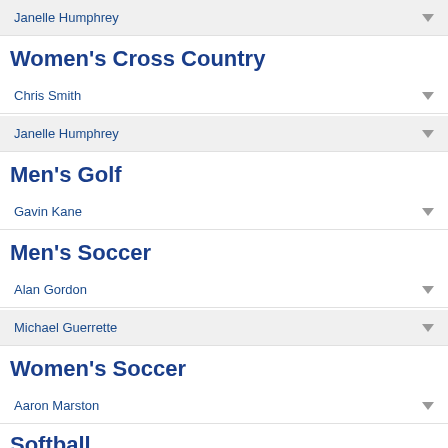Janelle Humphrey
Women's Cross Country
Chris Smith
Janelle Humphrey
Men's Golf
Gavin Kane
Men's Soccer
Alan Gordon
Michael Guerrette
Women's Soccer
Aaron Marston
Softball